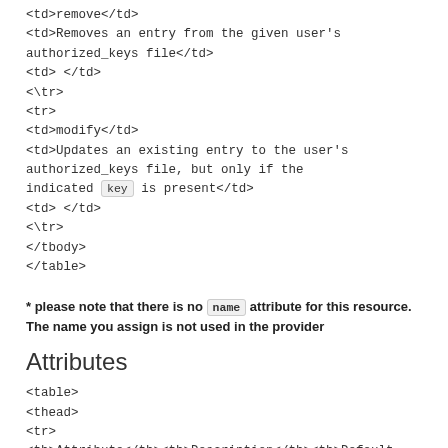<td>remove</td>
<td>Removes an entry from the given user's authorized_keys file</td>
<td> </td>
</tr>
<tr>
<td>modify</td>
<td>Updates an existing entry to the user's authorized_keys file, but only if the indicated key is present</td>
<td> </td>
</tr>
</tbody>
</table>
* please note that there is no name attribute for this resource. The name you assign is not used in the provider
Attributes
<table>
<thead>
<tr>
<th>Attribute</th><th>Description</th><th>Default Value</th>
</tr>
</thead>